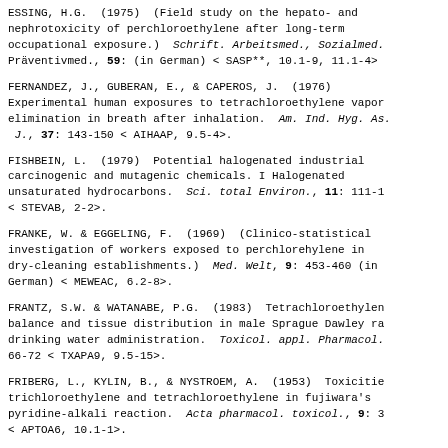ESSING, H.G. (1975) (Field study on the hepato- and nephrotoxicity of perchloroethylene after long-term occupational exposure.) Schrift. Arbeitsmed., Sozialmed. Präventivmed., 59: (in German) < SASP**, 10.1-9, 11.1-4>
FERNANDEZ, J., GUBERAN, E., & CAPEROS, J. (1976) Experimental human exposures to tetrachloroethylene vapor elimination in breath after inhalation. Am. Ind. Hyg. As. J., 37: 143-150 < AIHAAP, 9.5-4>.
FISHBEIN, L. (1979) Potential halogenated industrial carcinogenic and mutagenic chemicals. I Halogenated unsaturated hydrocarbons. Sci. total Environ., 11: 111-1 < STEVAB, 2-2>.
FRANKE, W. & EGGELING, F. (1969) (Clinico-statistical investigation of workers exposed to perchlorehylene in dry-cleaning establishments.) Med. Welt, 9: 453-460 (in German) < MEWEAC, 6.2-8>.
FRANTZ, S.W. & WATANABE, P.G. (1983) Tetrachloroethylene balance and tissue distribution in male Sprague Dawley ra drinking water administration. Toxicol. appl. Pharmacol. 66-72 < TXAPA9, 9.5-15>.
FRIBERG, L., KYLIN, B., & NYSTROEM, A. (1953) Toxicitie trichloroethylene and tetrachloroethylene in fujiwara's pyridine-alkali reaction. Acta pharmacol. toxicol., 9: 3 < APTOA6, 10.1-1>.